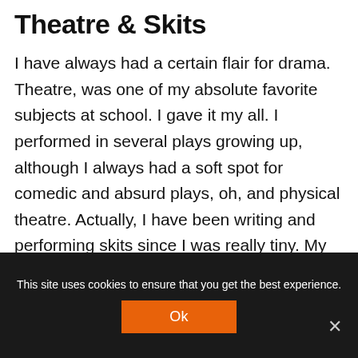Theatre & Skits
I have always had a certain flair for drama. Theatre, was one of my absolute favorite subjects at school. I gave it my all. I performed in several plays growing up, although I always had a soft spot for comedic and absurd plays, oh, and physical theatre. Actually, I have been writing and performing skits since I was really tiny. My skits have been performed before live
This site uses cookies to ensure that you get the best experience. Ok ×